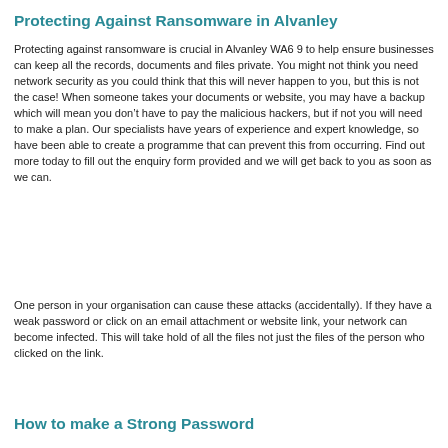Protecting Against Ransomware in Alvanley
Protecting against ransomware is crucial in Alvanley WA6 9 to help ensure businesses can keep all the records, documents and files private. You might not think you need network security as you could think that this will never happen to you, but this is not the case! When someone takes your documents or website, you may have a backup which will mean you don't have to pay the malicious hackers, but if not you will need to make a plan. Our specialists have years of experience and expert knowledge, so have been able to create a programme that can prevent this from occurring. Find out more today to fill out the enquiry form provided and we will get back to you as soon as we can.
One person in your organisation can cause these attacks (accidentally). If they have a weak password or click on an email attachment or website link, your network can become infected. This will take hold of all the files not just the files of the person who clicked on the link.
How to make a Strong Password